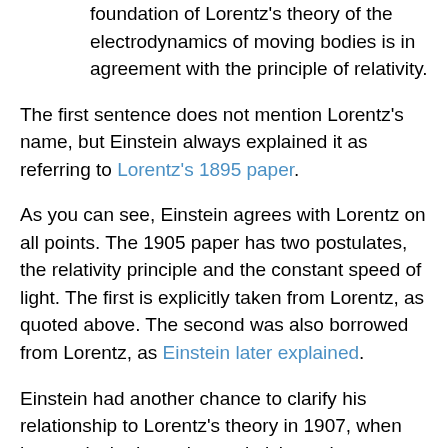foundation of Lorentz's theory of the electrodynamics of moving bodies is in agreement with the principle of relativity.
The first sentence does not mention Lorentz's name, but Einstein always explained it as referring to Lorentz's 1895 paper.
As you can see, Einstein agrees with Lorentz on all points. The 1905 paper has two postulates, the relativity principle and the constant speed of light. The first is explicitly taken from Lorentz, as quoted above. The second was also borrowed from Lorentz, as Einstein later explained.
Einstein had another chance to clarify his relationship to Lorentz's theory in 1907, when he was invited to write a relativity review paper, published in 1908 (also here), regurgitating his 1905 paper along with some other work. It said:
In what follows it is endeavored to present an integrated survey of the investigations which have arisen to date from combining the theory of